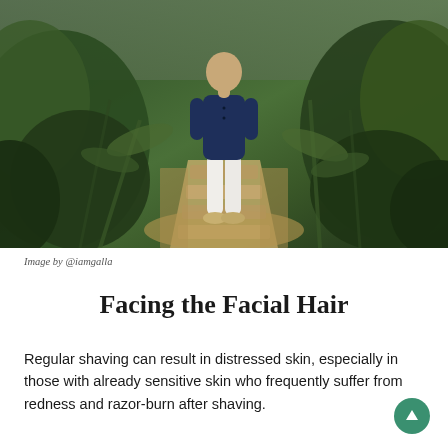[Figure (photo): A man wearing a navy blue short-sleeve shirt and white trousers standing on a stone path surrounded by lush green tropical garden plants and gravel]
Image by @iamgalla
Facing the Facial Hair
Regular shaving can result in distressed skin, especially in those with already sensitive skin who frequently suffer from redness and razor-burn after shaving.